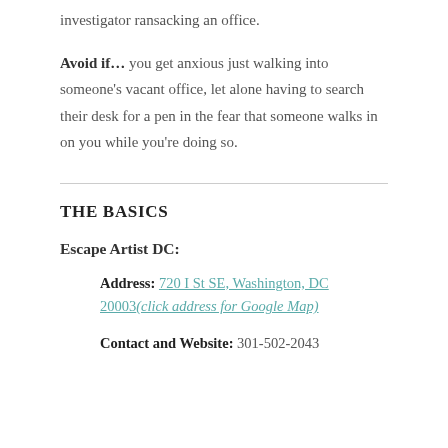investigator ransacking an office.
Avoid if… you get anxious just walking into someone's vacant office, let alone having to search their desk for a pen in the fear that someone walks in on you while you're doing so.
THE BASICS
Escape Artist DC:
Address: 720 I St SE, Washington, DC 20003(click address for Google Map)
Contact and Website: 301-502-2043